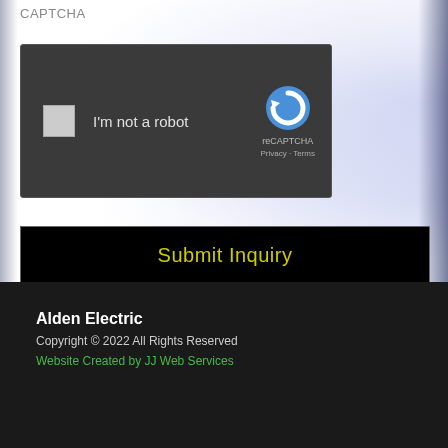CAPTCHA
[Figure (screenshot): reCAPTCHA widget with checkbox labeled 'I'm not a robot', Google reCAPTCHA logo, Privacy and Terms links]
Submit Inquiry
Alden Electric
Copyright © 2022 All Rights Reserved
Website Created by JJ Web Services